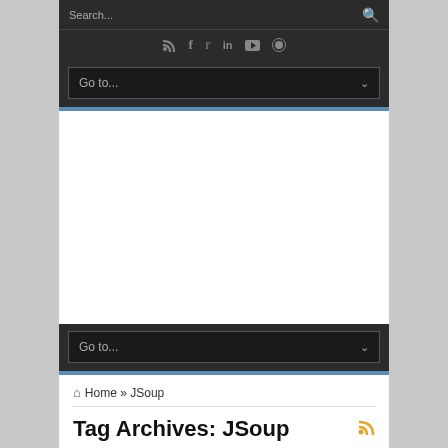[Figure (screenshot): Search bar with placeholder text 'Search...' and search icon on dark background]
[Figure (infographic): Row of social media icons: RSS, Facebook, Twitter, LinkedIn, YouTube, GitHub on dark background]
Go to...
[Figure (screenshot): White advertisement/content space]
Go to...
Home » JSoup
Tag Archives: JSoup